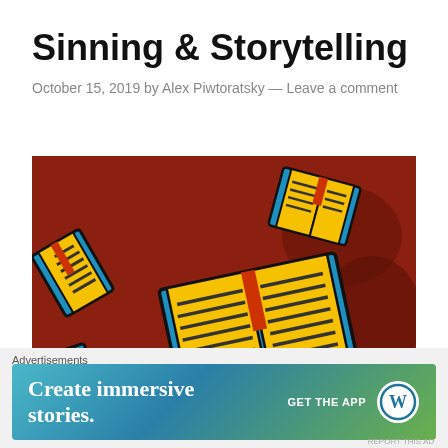Sinning & Storytelling
October 15, 2019 by Alex Piwtoratsky — Leave a comment
[Figure (illustration): Colorful illustration of open books with yellow pages and blue covers scattered on a dark red/brown background]
[Figure (other): Close button (X in circle) overlay on bottom-right of hero image]
Advertisements
[Figure (screenshot): WordPress advertisement banner: 'Create immersive stories.' with GET THE APP and WordPress logo]